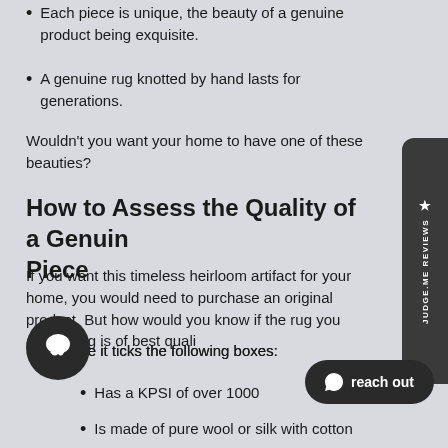Each piece is unique, the beauty of a genuine product being exquisite.
A genuine rug knotted by hand lasts for generations.
Wouldn't you want your home to have one of these beauties?
How to Assess the Quality of a Genuine Piece
If you want this timeless heirloom artifact for your home, you would need to purchase an original product. But how would you know if the rug you are buying is of best quality?
Make sure it ticks the following boxes:
Has a KPSI of over 1000
Is made of pure wool or silk with cotton